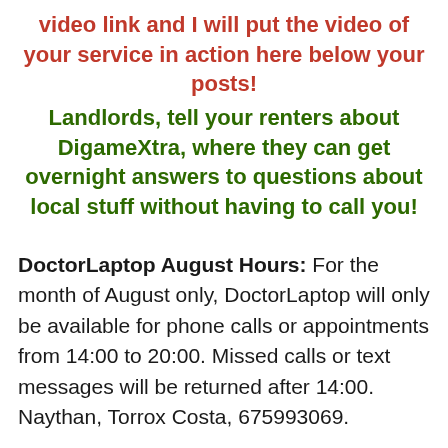video link and I will put the video of your service in action here below your posts!
Landlords, tell your renters about DigameXtra, where they can get overnight answers to questions about local stuff without having to call you!
DoctorLaptop August Hours: For the month of August only, DoctorLaptop will only be available for phone calls or appointments from 14:00 to 20:00. Missed calls or text messages will be returned after 14:00. Naythan, Torrox Costa, 675993069.